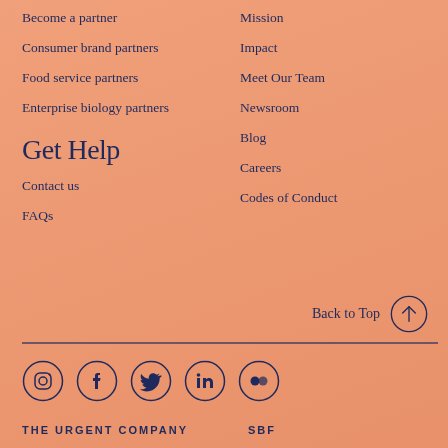Become a partner
Consumer brand partners
Food service partners
Enterprise biology partners
Get Help
Contact us
FAQs
Mission
Impact
Meet Our Team
Newsroom
Blog
Careers
Codes of Conduct
Back to Top
[Figure (other): Social media icons: Instagram, Facebook, Twitter, LinkedIn, Letterboxd]
THE URGENT COMPANY   SBF